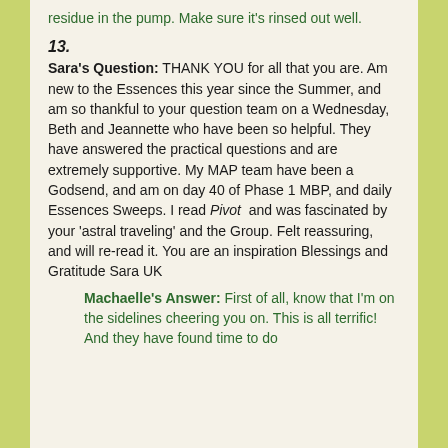residue in the pump. Make sure it's rinsed out well.
13. Sara's Question: THANK YOU for all that you are. Am new to the Essences this year since the Summer, and am so thankful to your question team on a Wednesday, Beth and Jeannette who have been so helpful. They have answered the practical questions and are extremely supportive. My MAP team have been a Godsend, and am on day 40 of Phase 1 MBP, and daily Essences Sweeps. I read Pivot and was fascinated by your 'astral traveling' and the Group. Felt reassuring, and will re-read it. You are an inspiration Blessings and Gratitude Sara UK
Machaelle's Answer: First of all, know that I'm on the sidelines cheering you on. This is all terrific! And they have found time to do...